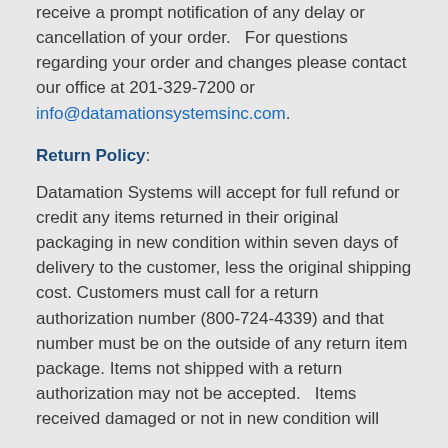receive a prompt notification of any delay or cancellation of your order.   For questions regarding your order and changes please contact our office at 201-329-7200 or info@datamationsystemsinc.com.
Return Policy:
Datamation Systems will accept for full refund or credit any items returned in their original packaging in new condition within seven days of delivery to the customer, less the original shipping cost. Customers must call for a return authorization number (800-724-4339) and that number must be on the outside of any return item package. Items not shipped with a return authorization may not be accepted.   Items received damaged or not in new condition will